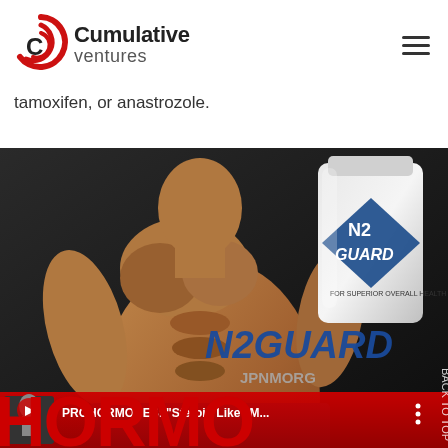[Figure (logo): Cumulative Ventures logo with red circular C icon and text 'Cumulative ventures']
tamoxifen, or anastrozole.
[Figure (photo): Composite image showing a muscular bodybuilder, N2Guard supplement bottle, N2GUARD branding text, JPNMORG watermark, a video thumbnail overlay with text 'PROHORMONES: Steroid Like M...', and large red text reading 'HORMO' at the bottom]